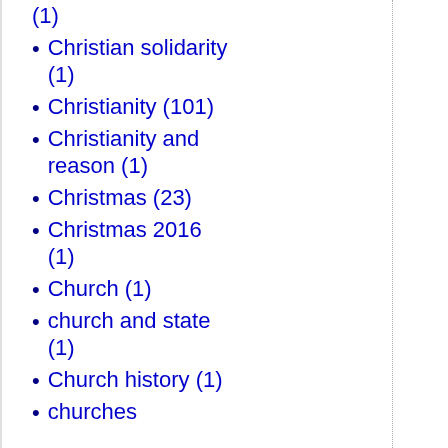(1)
Christian solidarity (1)
Christianity (101)
Christianity and reason (1)
Christmas (23)
Christmas 2016 (1)
Church (1)
church and state (1)
Church history (1)
churches